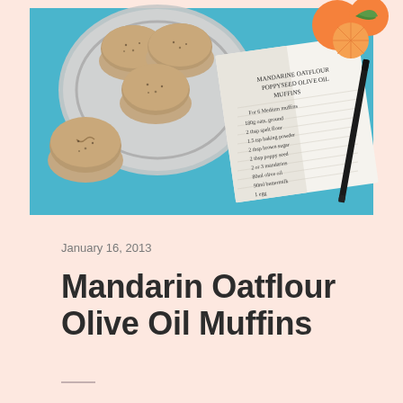[Figure (photo): Overhead photo on teal/blue background showing oat-flour muffins on a silver decorative plate, a handwritten recipe notebook open showing 'Mandarine Oatflour Poppyseed Olive Oil Muffins' recipe, a black pen, and mandarin oranges with green leaves in the corner.]
January 16, 2013
Mandarin Oatflour Olive Oil Muffins